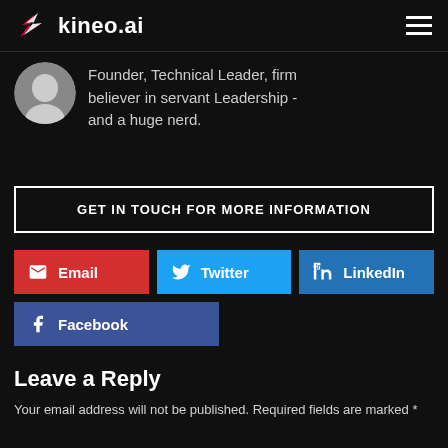kineo.ai
Founder, Technical Leader, firm believer in servant Leadership - and a huge nerd.
GET IN TOUCH FOR MORE INFORMATION
Email
Twitter
LinkedIn
Facebook
Leave a Reply
Your email address will not be published. Required fields are marked *